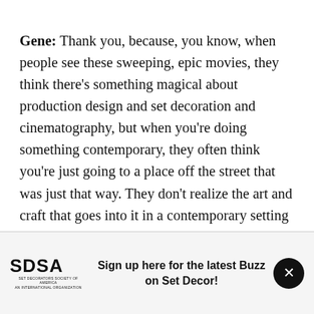Gene: Thank you, because, you know, when people see these sweeping, epic movies, they think there's something magical about production design and set decoration and cinematography, but when you're doing something contemporary, they often think you're just going to a place off the street that was just that way. They don't realize the art and craft that goes into it in a contemporary setting as well.
Sign up here for the latest Buzz on Set Decor!